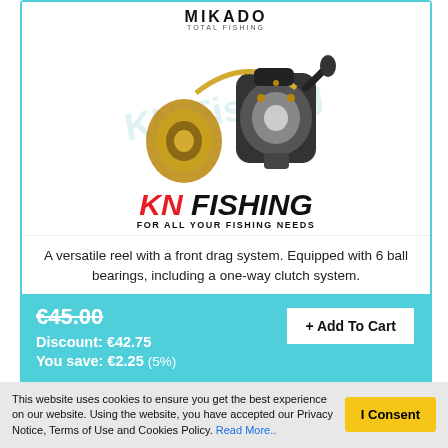[Figure (photo): Mikado fishing reel product photo showing two spinning reels with gold accents, plus KN Fishing logo and tagline 'FOR ALL YOUR FISHING NEEDS']
A versatile reel with a front drag system. Equipped with 6 ball bearings, including a one-way clutch system.
€45.00  + Add To Cart
Discount: €42.75
You save: €2.25 (5%)
This website uses cookies to ensure you get the best experience on our website. Using the website, you have accepted our Privacy Notice, Terms of Use and Cookies Policy. Read More..  I Consent